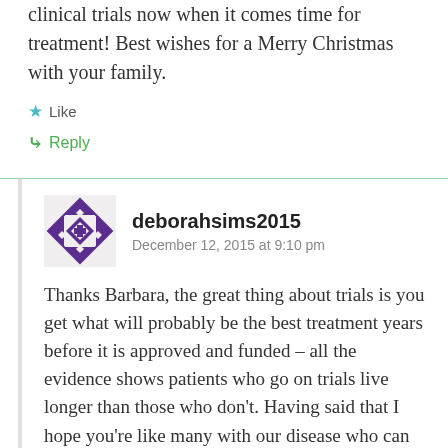clinical trials now when it comes time for treatment! Best wishes for a Merry Christmas with your family.
Like
Reply
deborahsims2015
December 12, 2015 at 9:10 pm
Thanks Barbara, the great thing about trials is you get what will probably be the best treatment years before it is approved and funded – all the evidence shows patients who go on trials live longer than those who don't. Having said that I hope you're like many with our disease who can enjoy a long watch and wait and perhaps never